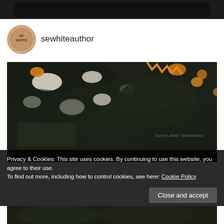[Figure (screenshot): Dark top navigation bar of a website]
[Figure (photo): Circular author avatar with SE WHITE logo/seal on beige background]
sewhiteauthor
[Figure (photo): Photo of colorful patterned knitted blanket or scarf with black, white and orange colors, draped over what appears to be a book titled ASH PLANET WARRIORS]
Privacy & Cookies: This site uses cookies. By continuing to use this website, you agree to their use.
To find out more, including how to control cookies, see here: Cookie Policy
Close and accept